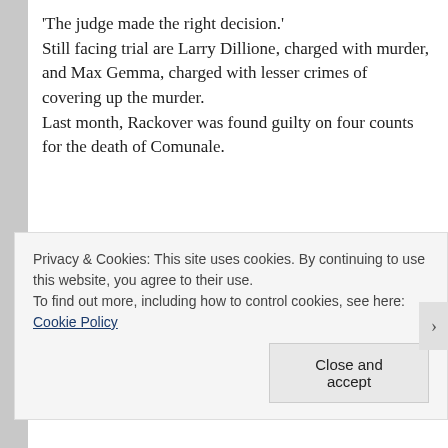'The judge made the right decision.' Still facing trial are Larry Dillione, charged with murder, and Max Gemma, charged with lesser crimes of covering up the murder. Last month, Rackover was found guilty on four counts for the death of Comunale.
Privacy & Cookies: This site uses cookies. By continuing to use this website, you agree to their use. To find out more, including how to control cookies, see here: Cookie Policy